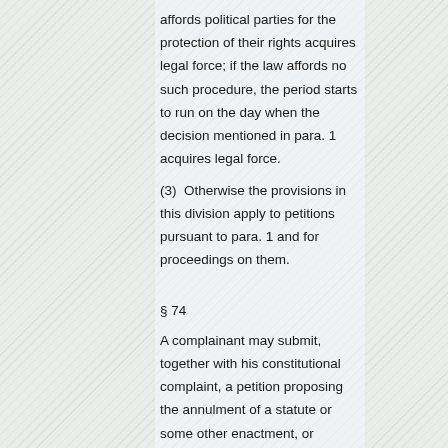affords political parties for the protection of their rights acquires legal force; if the law affords no such procedure, the period starts to run on the day when the decision mentioned in para. 1 acquires legal force.
(3)  Otherwise the provisions in this division apply to petitions pursuant to para. 1 and for proceedings on them.
§ 74
A complainant may submit, together with his constitutional complaint, a petition proposing the annulment of a statute or some other enactment, or